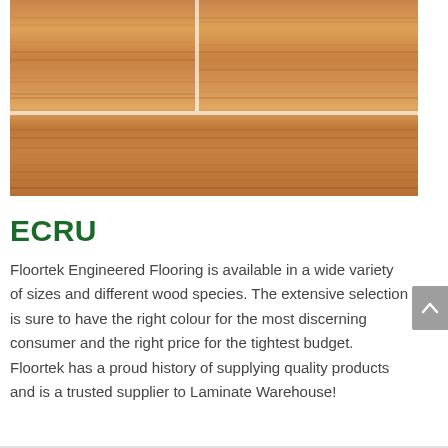[Figure (photo): Close-up photograph of light golden-brown engineered wood flooring panels showing wood grain texture and plank joints]
ECRU
Floortek Engineered Flooring is available in a wide variety of sizes and different wood species. The extensive selection is sure to have the right colour for the most discerning consumer and the right price for the tightest budget. Floortek has a proud history of supplying quality products and is a trusted supplier to Laminate Warehouse!